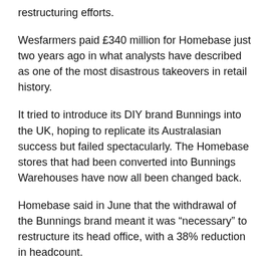restructuring efforts.
Wesfarmers paid £340 million for Homebase just two years ago in what analysts have described as one of the most disastrous takeovers in retail history.
It tried to introduce its DIY brand Bunnings into the UK, hoping to replicate its Australasian success but failed spectacularly. The Homebase stores that had been converted into Bunnings Warehouses have now all been changed back.
Homebase said in June that the withdrawal of the Bunnings brand meant it was “necessary” to restructure its head office, with a 38% reduction in headcount.
At the time, Homebase CEO Damian McGloughlin said: “We have not taken this decision lightly, but decisive